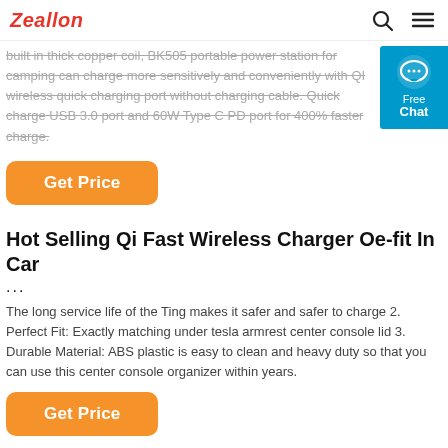Zeallon
built in thick copper coil, BK505 portable power station for camping can charge more sensitively and conveniently with QI wireless quick charging port without charging cable. Quick charge USB 3.0 port and 60W Type C PD port for 400% faster charge.
Get Price
Hot Selling Qi Fast Wireless Charger Oe-fit In Car...
...
The long service life of the Ting makes it safer and safer to charge 2. Perfect Fit: Exactly matching under tesla armrest center console lid 3. Durable Material: ABS plastic is easy to clean and heavy duty so that you can use this center console organizer within years.
Get Price